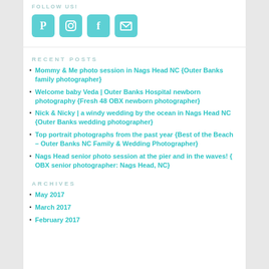FOLLOW US!
[Figure (illustration): Four social media icons in teal: Pinterest, Instagram, Facebook, Email/Mail]
RECENT POSTS
Mommy & Me photo session in Nags Head NC {Outer Banks family photographer}
Welcome baby Veda | Outer Banks Hospital newborn photography {Fresh 48 OBX newborn photographer}
Nick & Nicky | a windy wedding by the ocean in Nags Head NC {Outer Banks wedding photographer}
Top portrait photographs from the past year {Best of the Beach – Outer Banks NC Family & Wedding Photographer}
Nags Head senior photo session at the pier and in the waves! { OBX senior photographer: Nags Head, NC}
ARCHIVES
May 2017
March 2017
February 2017